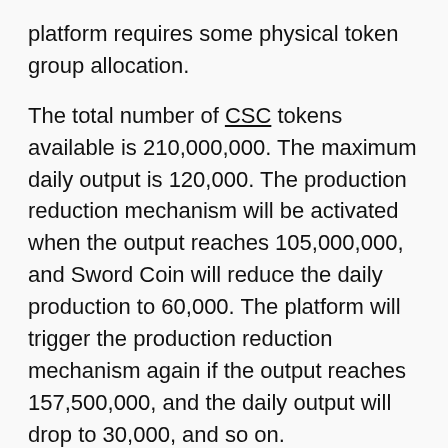platform requires some physical token group allocation.
The total number of CSC tokens available is 210,000,000. The maximum daily output is 120,000. The production reduction mechanism will be activated when the output reaches 105,000,000, and Sword Coin will reduce the daily production to 60,000. The platform will trigger the production reduction mechanism again if the output reaches 157,500,000, and the daily output will drop to 30,000, and so on.
GOL tokens have a maximum supply of 100,000,000,000. GOL is an online currency that can be explored, bought, traded, and exchanged in the Curtis Sword universe. It